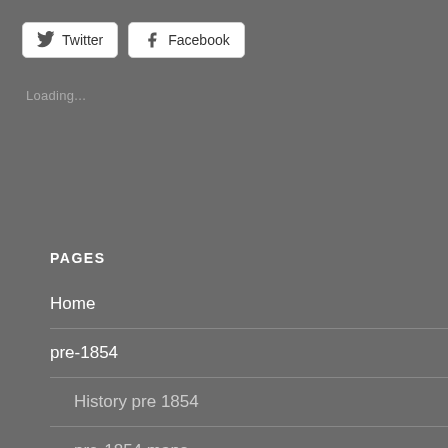[Figure (screenshot): Twitter share button with bird icon]
[Figure (screenshot): Facebook share button with f icon]
Loading...
PAGES
Home
pre-1854
History pre 1854
pre-1854 maps